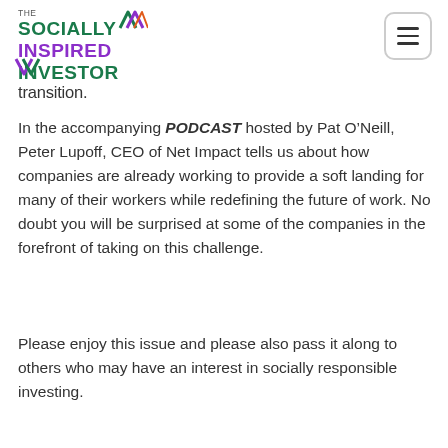THE SOCIALLY INSPIRED INVESTOR
transition.
In the accompanying PODCAST hosted by Pat O’Neill, Peter Lupoff, CEO of Net Impact tells us about how companies are already working to provide a soft landing for many of their workers while redefining the future of work. No doubt you will be surprised at some of the companies in the forefront of taking on this challenge.
Please enjoy this issue and please also pass it along to others who may have an interest in socially responsible investing.